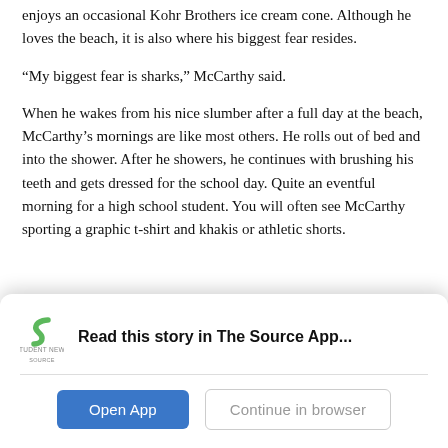enjoys an occasional Kohr Brothers ice cream cone. Although he loves the beach, it is also where his biggest fear resides.
“My biggest fear is sharks,” McCarthy said.
When he wakes from his nice slumber after a full day at the beach, McCarthy’s mornings are like most others. He rolls out of bed and into the shower. After he showers, he continues with brushing his teeth and gets dressed for the school day. Quite an eventful morning for a high school student. You will often see McCarthy sporting a graphic t-shirt and khakis or athletic shorts.
[Figure (logo): Student News Source logo - green S-shaped icon with 'STUDENT NEWS SOURCE' text below]
Read this story in The Source App...
Open App | Continue in browser